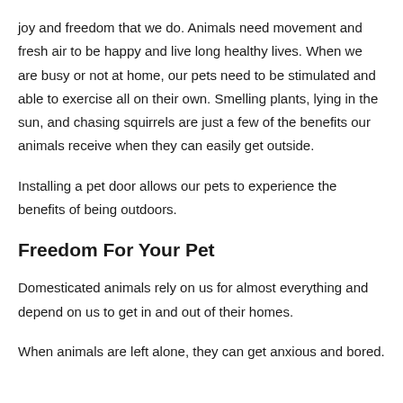joy and freedom that we do. Animals need movement and fresh air to be happy and live long healthy lives. When we are busy or not at home, our pets need to be stimulated and able to exercise all on their own. Smelling plants, lying in the sun, and chasing squirrels are just a few of the benefits our animals receive when they can easily get outside.
Installing a pet door allows our pets to experience the benefits of being outdoors.
Freedom For Your Pet
Domesticated animals rely on us for almost everything and depend on us to get in and out of their homes.
When animals are left alone, they can get anxious and bored.